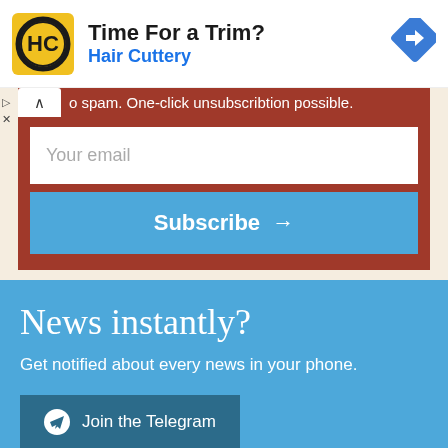[Figure (logo): Hair Cuttery logo - black and yellow square with HC letters]
Time For a Trim?
Hair Cuttery
[Figure (illustration): Blue diamond navigation/directions icon with white arrow]
o spam. One-click unsubscribtion possible.
Your email
Subscribe →
News instantly?
Get notified about every news in your phone.
Join the Telegram